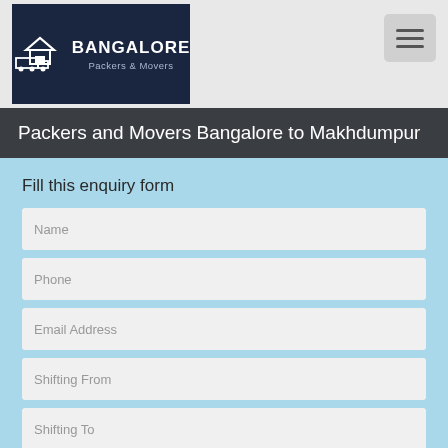[Figure (logo): Bangalore Packers & Movers logo with house and truck icon on dark navy background]
Packers and Movers Bangalore to Makhdumpur
Fill this enquiry form
Name
Phone
Email Address
Shifting From
Shifting To
Want to Shift ?
Household
Car
Bike
Mini Tempo